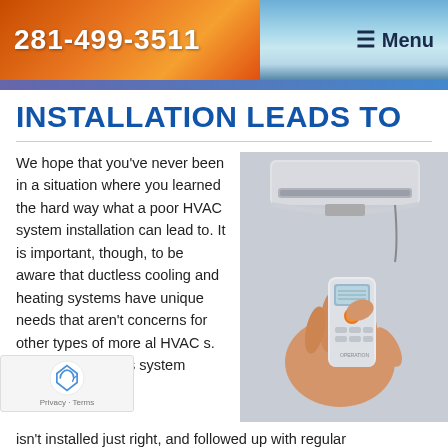281-499-3511  Menu
INSTALLATION LEADS TO
We hope that you've never been in a situation where you learned the hard way what a poor HVAC system installation can lead to. It is important, though, to be aware that ductless cooling and heating systems have unique needs that aren't concerns for other types of more al HVAC s. Therefore, if ctless system isn't installed just right, and followed up with regular
[Figure (photo): Photo of a hand holding a remote control pointed at a wall-mounted ductless mini-split HVAC unit installed on an interior wall]